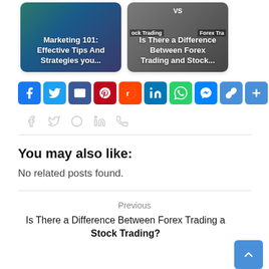[Figure (screenshot): Two article thumbnail cards: 'Marketing 101: Effective Tips And Strategies you...' and 'Is There a Difference Between Forex Trading and Stock...']
[Figure (infographic): Social share buttons row: Facebook, Twitter, Email, Pinterest, Reddit, LinkedIn, WhatsApp, Messenger, Copy Link, More]
[Figure (infographic): Ghost/outline social icons row: Facebook, Twitter, Pinterest, LinkedIn, WhatsApp]
You may also like:
No related posts found.
Previous
Is There a Difference Between Forex Trading and Stock Trading?